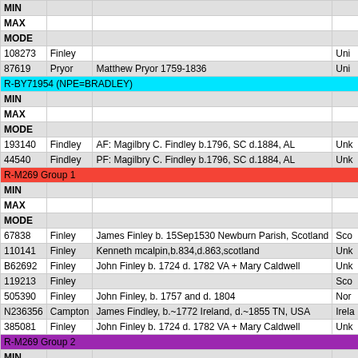| ID | Surname | Description | Origin |
| --- | --- | --- | --- |
| MIN |  |  |  |
| MAX |  |  |  |
| MODE |  |  |  |
| 108273 | Finley |  | Uni |
| 87619 | Pryor | Matthew Pryor 1759-1836 | Uni |
| R-BY71954 (NPE=BRADLEY) |  |  |  |
| MIN |  |  |  |
| MAX |  |  |  |
| MODE |  |  |  |
| 193140 | Findley | AF: Magilbry C. Findley b.1796, SC d.1884, AL | Unk |
| 44540 | Findley | PF: Magilbry C. Findley b.1796, SC d.1884, AL | Unk |
| R-M269 Group 1 |  |  |  |
| MIN |  |  |  |
| MAX |  |  |  |
| MODE |  |  |  |
| 67838 | Finley | James Finley b. 15Sep1530 Newburn Parish, Scotland | Sco |
| 110141 | Finley | Kenneth mcalpin,b.834,d.863,scotland | Unk |
| B62692 | Finley | John Finley b. 1724 d. 1782 VA + Mary Caldwell | Unk |
| 119213 | Finley |  | Sco |
| 505390 | Finley | John Finley, b. 1757 and d. 1804 | Nor |
| N236356 | Campton | James Findley, b.~1772 Ireland, d.~1855 TN, USA | Irela |
| 385081 | Finley | John Finley b. 1724 d. 1782 VA + Mary Caldwell | Unk |
| R-M269 Group 2 |  |  |  |
| MIN |  |  |  |
| MAX |  |  |  |
| MODE |  |  |  |
| 135236 | Finley |  | Sco |
| 121249 | Finley |  | Unk |
| 52531 | Fendley |  | Sco |
| 59541 | Findley |  | Sco |